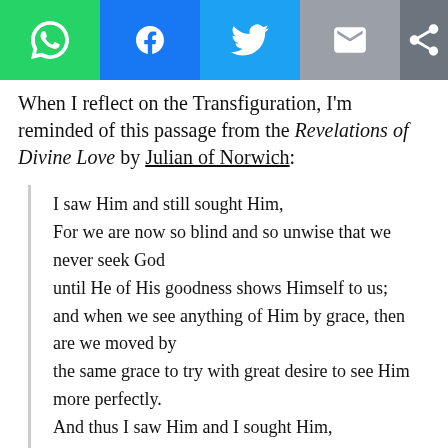[Figure (other): Social sharing toolbar with WhatsApp (green), Facebook (blue), Twitter (cyan), Email (gray), and Share (dark gray) buttons]
When I reflect on the Transfiguration, I'm reminded of this passage from the Revelations of Divine Love by Julian of Norwich:
I saw Him and still sought Him,
For we are now so blind and so unwise that we never seek God
until He of His goodness shows Himself to us;
and when we see anything of Him by grace, then are we moved by
the same grace to try with great desire to see Him more perfectly.
And thus I saw Him and I sought Him,
and I possessed Him and I lacked Him.